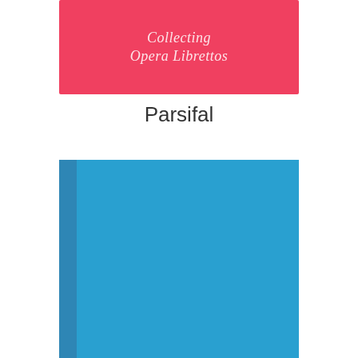[Figure (illustration): Top portion of a red book cover with italic white script text reading 'Collecting Opera Librettos']
Parsifal
[Figure (illustration): A blue hardcover book shown from a slight angle, spine visible on the left side, solid light blue cover]